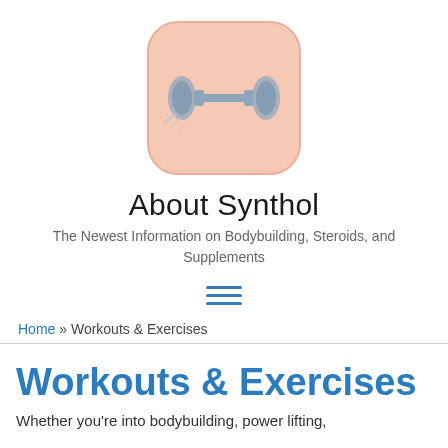[Figure (logo): Dumbbell icon in a rounded square with peach/salmon background — the logo for About Synthol website]
About Synthol
The Newest Information on Bodybuilding, Steroids, and Supplements
[Figure (other): Hamburger menu icon (three horizontal blue lines)]
Home » Workouts & Exercises
Workouts & Exercises
Whether you're into bodybuilding, power lifting,